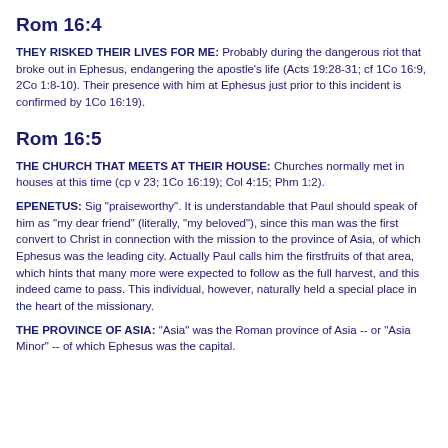Rom 16:4
THEY RISKED THEIR LIVES FOR ME: Probably during the dangerous riot that broke out in Ephesus, endangering the apostle's life (Acts 19:28-31; cf 1Co 16:9, 2Co 1:8-10). Their presence with him at Ephesus just prior to this incident is confirmed by 1Co 16:19).
Rom 16:5
THE CHURCH THAT MEETS AT THEIR HOUSE: Churches normally met in houses at this time (cp v 23; 1Co 16:19); Col 4:15; Phm 1:2).
EPENETUS: Sig "praiseworthy". It is understandable that Paul should speak of him as "my dear friend" (literally, "my beloved"), since this man was the first convert to Christ in connection with the mission to the province of Asia, of which Ephesus was the leading city. Actually Paul calls him the firstfruits of that area, which hints that many more were expected to follow as the full harvest, and this indeed came to pass. This individual, however, naturally held a special place in the heart of the missionary.
THE PROVINCE OF ASIA: "Asia" was the Roman province of Asia -- or "Asia Minor" -- of which Ephesus was the capital.